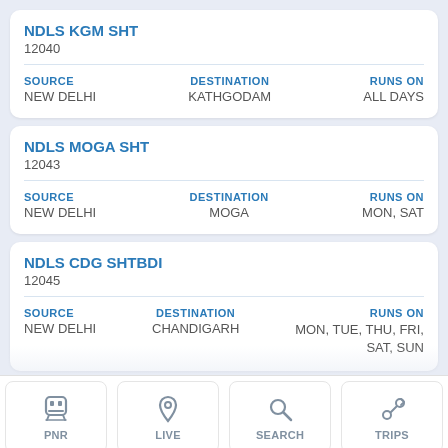NDLS KGM SHT
12040
| SOURCE | DESTINATION | RUNS ON |
| --- | --- | --- |
| NEW DELHI | KATHGODAM | ALL DAYS |
NDLS MOGA SHT
12043
| SOURCE | DESTINATION | RUNS ON |
| --- | --- | --- |
| NEW DELHI | MOGA | MON, SAT |
NDLS CDG SHTBDI
12045
| SOURCE | DESTINATION | RUNS ON |
| --- | --- | --- |
| NEW DELHI | CHANDIGARH | MON, TUE, THU, FRI, SAT, SUN |
NDLS FZR SHTBDI
12047
PNR | LIVE | SEARCH | TRIPS